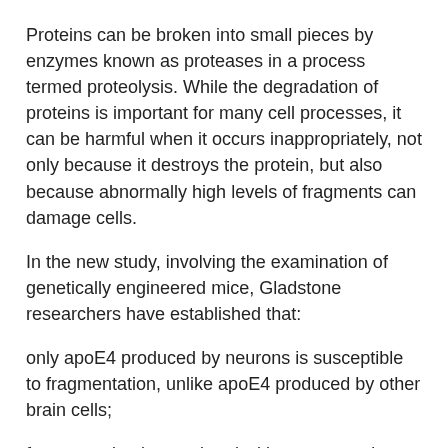Proteins can be broken into small pieces by enzymes known as proteases in a process termed proteolysis. While the degradation of proteins is important for many cell processes, it can be harmful when it occurs inappropriately, not only because it destroys the protein, but also because abnormally high levels of fragments can damage cells.
In the new study, involving the examination of genetically engineered mice, Gladstone researchers have established that:
only apoE4 produced by neurons is susceptible to fragmentation, unlike apoE4 produced by other brain cells;
fragmentation is correlated with age, occurring more frequently the older the animal, similar to the effect of age on Alzheimer disease risk in humans;
fragmentation of apoE4 occurs predominantly in the very parts of the brain that are most vulnerable to Alzheimer's disease, the neocortex and hippocampus. In contrast,